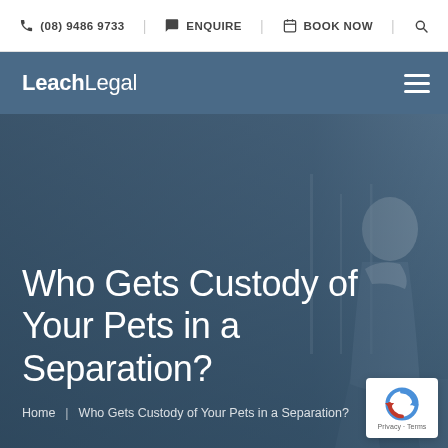(08) 9486 9733  ENQUIRE  BOOK NOW
LeachLegal
[Figure (screenshot): Hero banner showing a person sitting outdoors with a dark blue overlay. Contains the page title 'Who Gets Custody of Your Pets in a Separation?' and breadcrumb navigation. Also contains a reCAPTCHA badge in the bottom right corner.]
Who Gets Custody of Your Pets in a Separation?
Home  |  Who Gets Custody of Your Pets in a Separation?